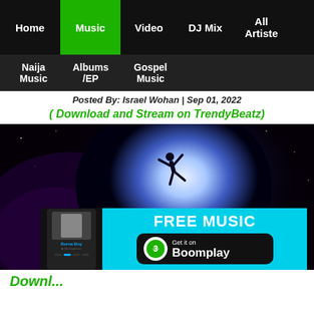Home | Music | Video | DJ Mix | All Artiste
Naija Music | Albums /EP | Gospel Music
Posted By: Israel Wohan  | Sep 01, 2022
( Download and Stream on TrendyBeatz)
[Figure (photo): A silhouette of a person floating/jumping in front of a large glowing blue-white orb/planet against a dark space background. TrendyBeatz.com watermark visible. Boomplay FREE MUSIC banner overlaid at bottom.]
Downl...